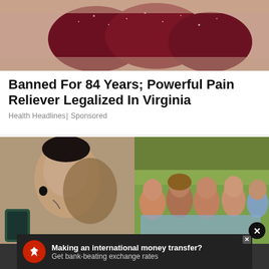[Figure (photo): Close-up of dark red gummy candy/supplements being held in a hand]
Banned For 84 Years; Powerful Pain Reliever Legalized In Virginia
Health Headlines | Sponsored
[Figure (photo): Two-panel image: left shows a young tattooed man taking a selfie; right shows a group of young women at an outdoor picnic]
[Figure (photo): Advertisement banner: Making an international money transfer? Get bank-beating exchange rates]